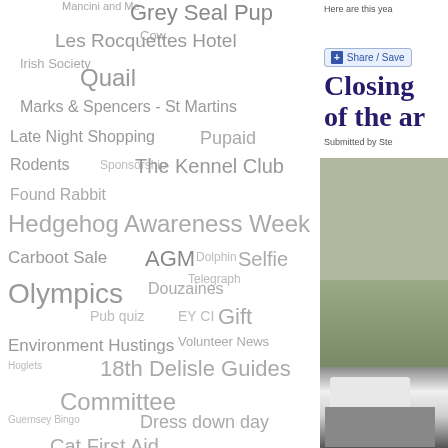[Figure (infographic): Word cloud containing various topics including: Mancini and Me, Grey Seal Pup, Cow, Les Rocquettes Hotel, Irish Society, Quail, Marks & Spencers - St Martins, Late Night Shopping, Pupaid, Rodents, Sponsorship, The Kennel Club, Found Rabbit, Hedgehog Awareness Week, Carboot Sale, AGM, Dolphin, Selfie, Telegraph, Olympics, Douzaines, Pub quiz, EY CI, Gift, Environment Hustings, Volunteer News, Hoglets, 18th Delisle Guides, Committee, Guernsey Bingo, Dress down day, Cat First Aid]
Here are this yea
Share / Save
Closing of the ar
Submitted by Ste
[Figure (photo): Outdoor photo showing bare trees and white vans in a car park]